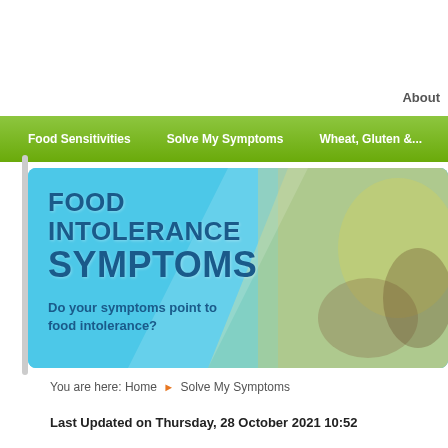About
Food Sensitivities | Solve My Symptoms | Wheat, Gluten &...
[Figure (infographic): Food Intolerance Symptoms banner with sky-blue background and diagonal image of a person. Text reads: FOOD INTOLERANCE SYMPTOMS - Do your symptoms point to food intolerance?]
You are here: Home ▶ Solve My Symptoms
Last Updated on Thursday, 28 October 2021 10:52